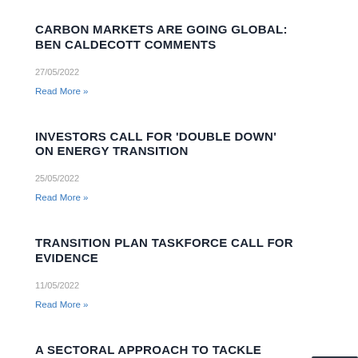CARBON MARKETS ARE GOING GLOBAL: BEN CALDECOTT COMMENTS
27/05/2022
Read More »
INVESTORS CALL FOR 'DOUBLE DOWN' ON ENERGY TRANSITION
25/05/2022
Read More »
TRANSITION PLAN TASKFORCE CALL FOR EVIDENCE
11/05/2022
Read More »
A SECTORAL APPROACH TO TACKLE SUSTAINABILITY DATA QUALITY AN…